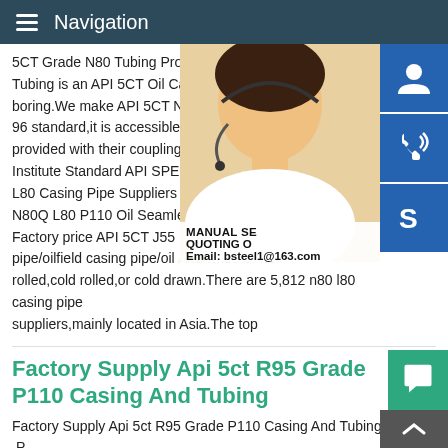Navigation
5CT Grade N80 Tubing Programming Inte... Tubing is an API 5CT Oil Casing Pipe and boring.We make API 5CT N80 Casing Tub... 96 standard,it is accessible as short string provided with their couplings.As indicated Institute Standard API SPEC 5CT1988 N8... L80 Casing Pipe Suppliers and High Quali... N80Q L80 P110 Oil Seamless Steel Casin... Factory price API 5CT J55 K55 N80 L80 P... pipe/oilfield casing pipe/oil And whether n8... rolled,cold rolled,or cold drawn.There are 5,812 n80 l80 casing pipe suppliers,mainly located in Asia.The top
[Figure (photo): Customer service representative woman with headset, with blue sidebar icons for chat, phone, and Skype]
MANUAL SE... QUOTING O... Email: bsteel1@163.com
Factory Supply Api 5ct R95 Grade P110 Casing And Tubing
Factory Supply Api 5ct R95 Grade P110 Casing And Tubing ,P...